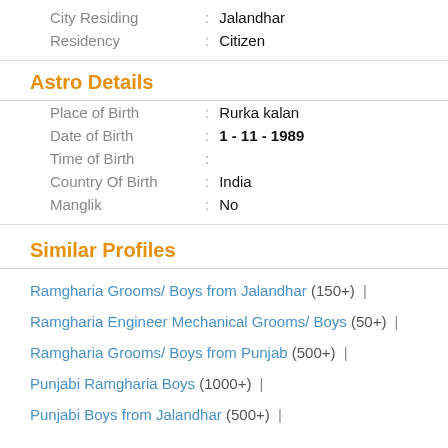City Residing : Jalandhar
Residency : Citizen
Astro Details
Place of Birth : Rurka kalan
Date of Birth : 1 - 11 - 1989
Time of Birth :
Country Of Birth : India
Manglik : No
Similar Profiles
Ramgharia Grooms/ Boys from Jalandhar (150+) |
Ramgharia Engineer Mechanical Grooms/ Boys (50+) |
Ramgharia Grooms/ Boys from Punjab (500+) |
Punjabi Ramgharia Boys (1000+) |
Punjabi Boys from Jalandhar (500+) |